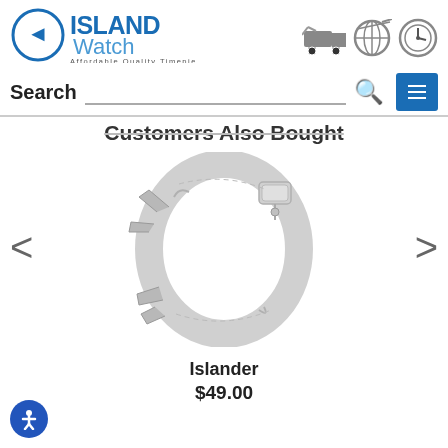[Figure (logo): Island Watch logo — circular arrow icon with ISLAND in bold blue and Watch in lighter blue, tagline Affordable Quality Timepieces Online]
[Figure (illustration): Three header icons: delivery truck, globe/target, watch face]
[Figure (illustration): Search bar with magnifying glass icon and blue hamburger menu button]
Customers Also Bought
[Figure (photo): Silver stainless steel watch bracelet/band displayed in a curved loop showing the clasp, on white background]
Islander
$49.00